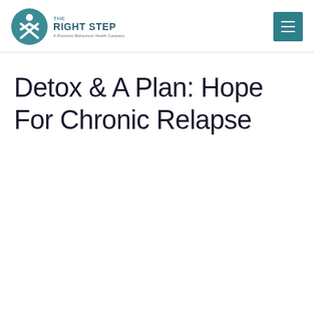The Right Step — A Promises Behavioral Health Company
Detox & A Plan: Hope For Chronic Relapse